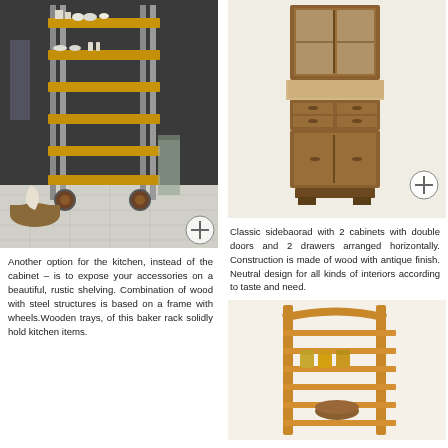[Figure (photo): A rustic baker's rack with wooden shelves and metal frame on wheels, filled with kitchen items including bowls, bottles and baskets, in a dark-walled kitchen setting. A plus button overlay is visible.]
Another option for the kitchen, instead of the cabinet – is to expose your accessories on a beautiful, rustic shelving. Combination of wood with steel structures is based on a frame with wheels.Wooden trays, of this baker rack solidly hold kitchen items.
[Figure (photo): A tall classic wooden sideboard cabinet with double doors on top section and 2 drawers with double doors below, antique wood finish. A plus button overlay is visible.]
Classic sidebaorad with 2 cabinets with double doors and 2 drawers arranged horizontally. Construction is made of wood with antique finish. Neutral design for all kinds of interiors according to taste and need.
[Figure (photo): A wooden baker's rack with horizontal slat shelves holding glass jars and a bowl, light wood finish, partial view at bottom right of page.]